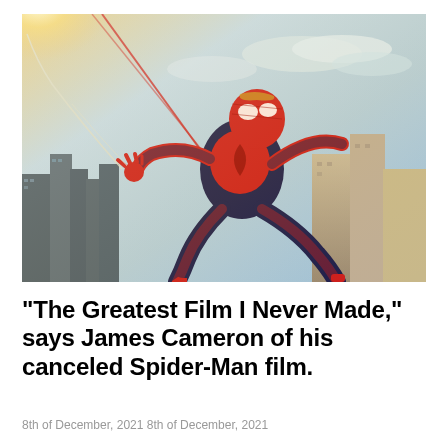[Figure (photo): Spider-Man in a red and blue suit swinging between skyscrapers against a bright sky, shooting webs from his hand, viewed from below at a dramatic angle.]
“The Greatest Film I Never Made,” says James Cameron of his canceled Spider-Man film.
8th of December, 2021 8th of December, 2021